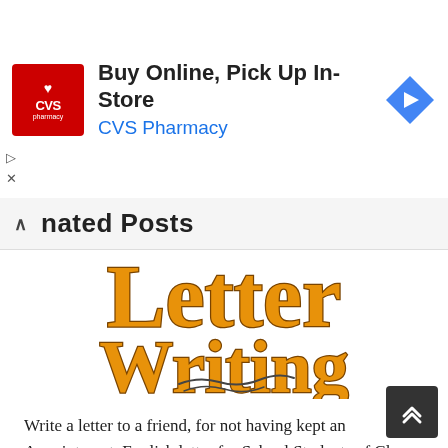[Figure (other): CVS Pharmacy advertisement banner: Buy Online, Pick Up In-Store]
nated Posts
[Figure (illustration): Letter Writing decorative title image with orange serif text and pen illustration]
Write a letter to a friend, for not having kept an Appointment. English letter for School Students of Class 7, 8, 9, 10 and 12